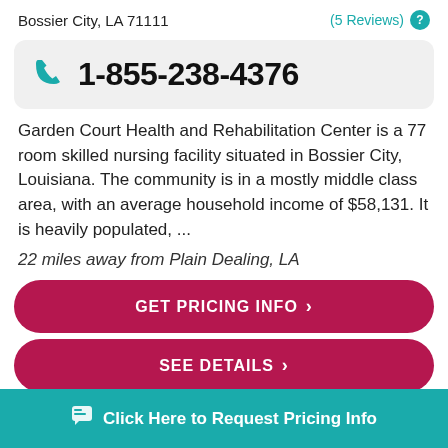Bossier City, LA 71111
(5 Reviews)
1-855-238-4376
Garden Court Health and Rehabilitation Center is a 77 room skilled nursing facility situated in Bossier City, Louisiana. The community is in a mostly middle class area, with an average household income of $58,131. It is heavily populated, ...
22 miles away from Plain Dealing, LA
GET PRICING INFO ❯
SEE DETAILS ❯
⎘ Click Here to Request Pricing Info